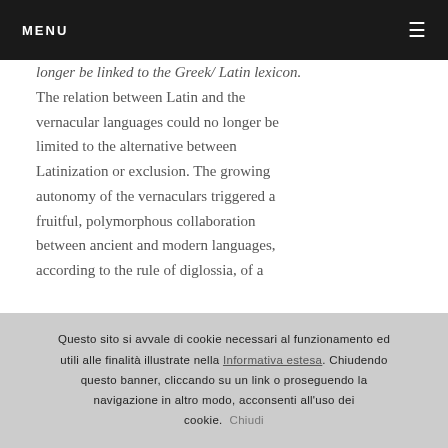MENU
longer be linked to the Greek/ Latin lexicon. The relation between Latin and the vernacular languages could no longer be limited to the alternative between Latinization or exclusion. The growing autonomy of the vernaculars triggered a fruitful, polymorphous collaboration between ancient and modern languages, according to the rule of diglossia, of a
Questo sito si avvale di cookie necessari al funzionamento ed utili alle finalità illustrate nella Informativa estesa. Chiudendo questo banner, cliccando su un link o proseguendo la navigazione in altro modo, acconsenti all'uso dei cookie. Chiudi